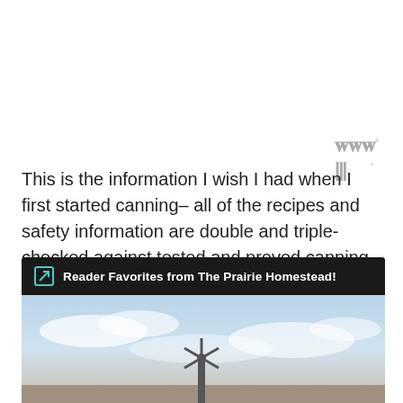[Figure (logo): Stylized 'W' logo with superscript degree symbol in gray]
This is the information I wish I had when I first started canning– all of the recipes and safety information are double and triple-checked against tested and proved canning recipes and recommendations.
[Figure (infographic): Dark card with header 'Reader Favorites from The Prairie Homestead!' and a landscape photo below showing sky with clouds and a windmill silhouette]